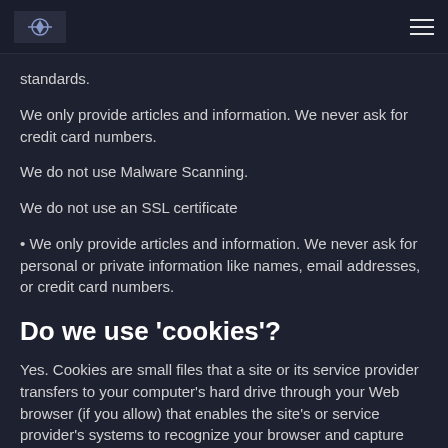[logo] [navigation menu]
standards.
We only provide articles and information. We never ask for credit card numbers.
We do not use Malware Scanning.
We do not use an SSL certificate
• We only provide articles and information. We never ask for personal or private information like names, email addresses, or credit card numbers.
Do we use 'cookies'?
Yes. Cookies are small files that a site or its service provider transfers to your computer's hard drive through your Web browser (if you allow) that enables the site's or service provider's systems to recognize your browser and capture